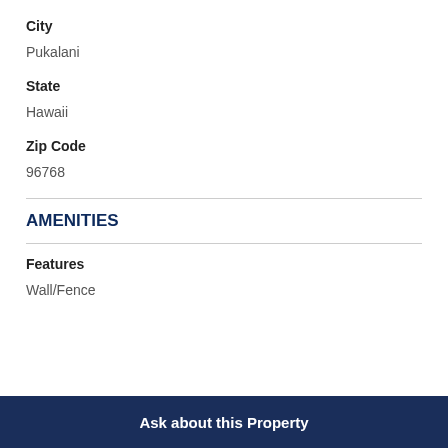City
Pukalani
State
Hawaii
Zip Code
96768
AMENITIES
Features
Wall/Fence
Ask about this Property